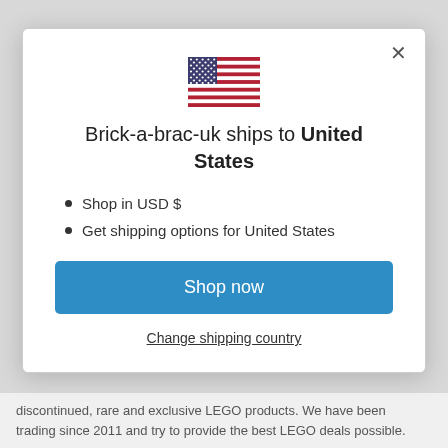[Figure (illustration): US flag icon centered at top of modal]
Brick-a-brac-uk ships to United States
Shop in USD $
Get shipping options for United States
Shop now
Change shipping country
discontinued, rare and exclusive LEGO products. We have been trading since 2011 and try to provide the best LEGO deals possible.